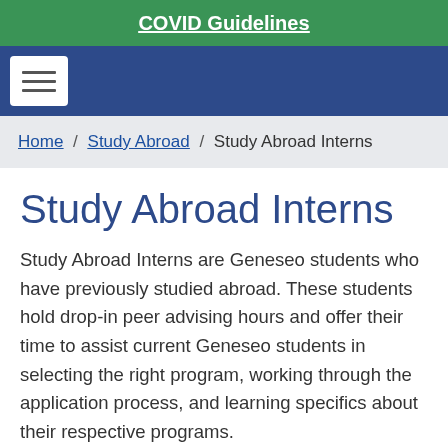COVID Guidelines
Home / Study Abroad / Study Abroad Interns
Study Abroad Interns
Study Abroad Interns are Geneseo students who have previously studied abroad. These students hold drop-in peer advising hours and offer their time to assist current Geneseo students in selecting the right program, working through the application process, and learning specifics about their respective programs.